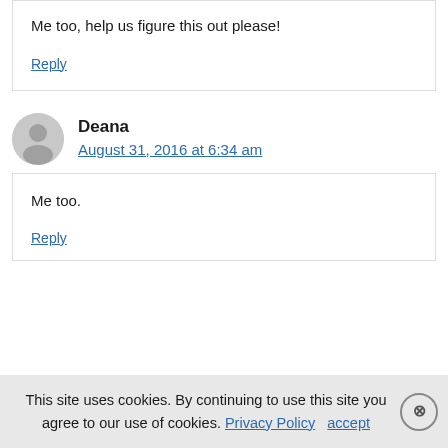Me too, help us figure this out please!
Reply
Deana
August 31, 2016 at 6:34 am
Me too.
Reply
This site uses cookies. By continuing to use this site you agree to our use of cookies. Privacy Policy accept